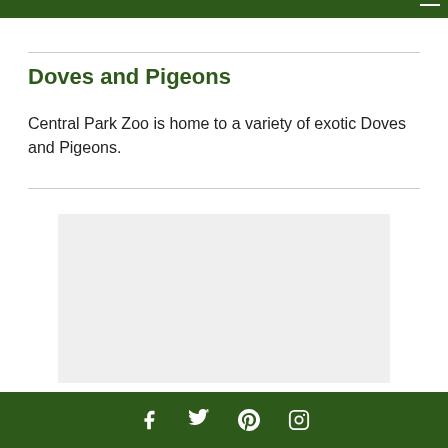Doves and Pigeons
Central Park Zoo is home to a variety of exotic Doves and Pigeons.
[Figure (photo): Light gray placeholder image area representing a photo of doves and pigeons]
Social media icons: Facebook, Twitter, Pinterest, Instagram